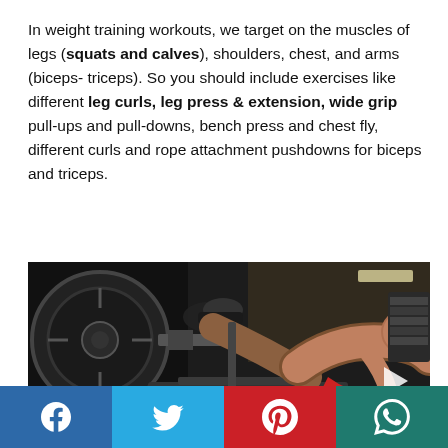In weight training workouts, we target on the muscles of legs (squats and calves), shoulders, chest, and arms (biceps- triceps). So you should include exercises like different leg curls, leg press & extension, wide grip pull-ups and pull-downs, bench press and chest fly, different curls and rope attachment pushdowns for biceps and triceps.
[Figure (photo): A muscular man performing leg press exercise on a machine in a gym, with heavy barbell weights visible. USA text visible on equipment.]